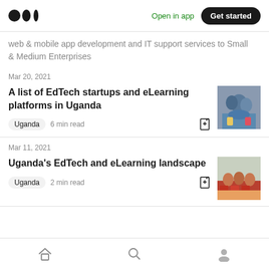Medium — Open in app | Get started
web & mobile app development and IT support services to Small & Medium Enterprises
Mar 20, 2021
A list of EdTech startups and eLearning platforms in Uganda
Uganda  6 min read
[Figure (photo): Photo of children looking at a device]
Mar 11, 2021
Uganda's EdTech and eLearning landscape
Uganda  2 min read
[Figure (photo): Photo of children in red uniforms sitting at desks]
Home | Search | Profile